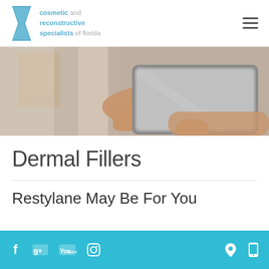cosmetic and reconstructive specialists of florida
[Figure (photo): Close-up photo of a person's hands holding a tablet/smartphone device, blurred background]
Dermal Fillers
Restylane May Be For You
Social icons: Facebook, Google+, YouTube, Instagram | Location icon, Mobile icon